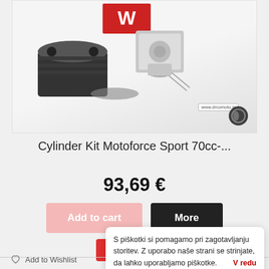[Figure (photo): Product photo of Cylinder Kit Motoforce Sport 70cc parts including cylinder, piston, and gasket set on grey background with www.drcomoto.si watermark]
Cylinder Kit Motoforce Sport 70cc-...
93,69 €
Add to cart
More
Add to Wishlist
+ Add to Compare
S piškotki si pomagamo pri zagotavljanju storitev. Z uporabo naše strani se strinjate, da lahko uporabljamo piškotke. V redu